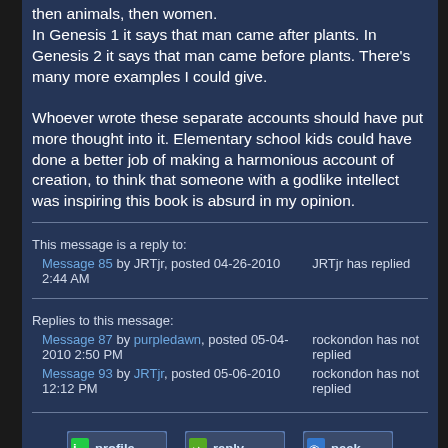then animals, then women.
In Genesis 1 it says that man came after plants. In Genesis 2 it says that man came before plants. There's many more examples I could give.
Whoever wrote these separate accounts should have put more thought into it. Elementary school kids could have done a better job of making a harmonious account of creation, to think that someone with a godlike intellect was inspiring this book is absurd in my opinion.
This message is a reply to:
Message 85 by JRTjr, posted 04-26-2010 2:44 AM
JRTjr has replied
Replies to this message:
Message 87 by purpledawn, posted 05-04-2010 2:50 PM
rockondon has not replied
Message 93 by JRTjr, posted 05-06-2010 12:12 PM
rockondon has not replied